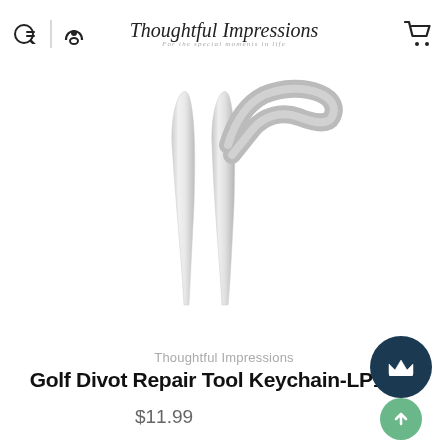Thoughtful Impressions — For the special moments in life
[Figure (photo): Two silver metal golf divot repair tool prongs/tines, shown close-up on a white background.]
Thoughtful Impressions
Golf Divot Repair Tool Keychain-LP1020
$11.99